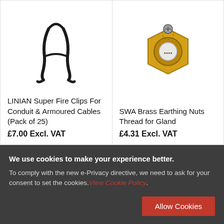[Figure (photo): Black metal spring clip / fire clip for conduit and armoured cables]
LINIAN Super Fire Clips For Conduit & Armoured Cables (Pack of 25)
£7.00 Excl. VAT
[Figure (photo): Brass hexagonal earthing nut with screw for SWA cable glands]
SWA Brass Earthing Nuts Thread for Gland
£4.31 Excl. VAT
We use cookies to make your experience better. To comply with the new e-Privacy directive, we need to ask for your consent to set the cookies. View Cookie Policy.